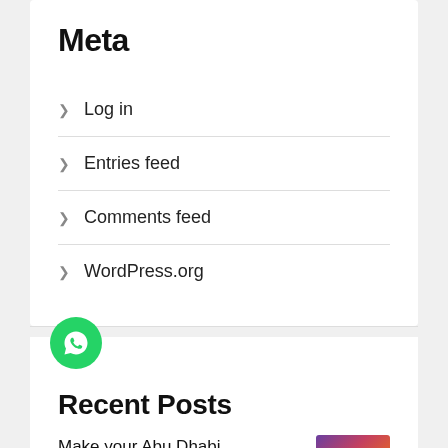Meta
Log in
Entries feed
Comments feed
WordPress.org
Recent Posts
Make your Abu Dhabi